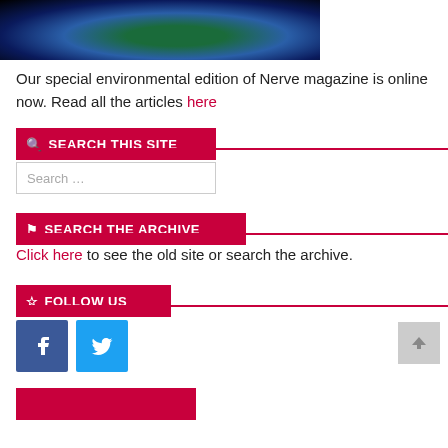[Figure (photo): Partial view of planet Earth from space against black background]
Our special environmental edition of Nerve magazine is online now. Read all the articles here
🔍 SEARCH THIS SITE
Search ...
🔖 SEARCH THE ARCHIVE
Click here to see the old site or search the archive.
☆ FOLLOW US